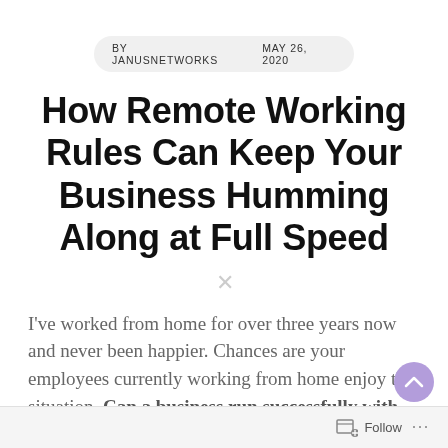BY JANUSNETWORKS    MAY 26, 2020
How Remote Working Rules Can Keep Your Business Humming Along at Full Speed
I've worked from home for over three years now and never been happier. Chances are your employees currently working from home enjoy the situation. Can a business run successfully with
Follow ...